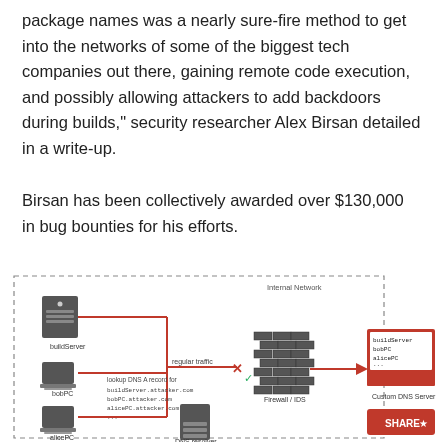package names was a nearly sure-fire method to get into the networks of some of the biggest tech companies out there, gaining remote code execution, and possibly allowing attackers to add backdoors during builds," security researcher Alex Birsan detailed in a write-up.
Birsan has been collectively awarded over $130,000 in bug bounties for his efforts.
[Figure (infographic): Network diagram showing dependency confusion attack. Internal network (dashed border) contains buildServer, bobPC, and alicePC machines. Red lines show attack flow through a DNS resolver which sends lookup DNS A record queries for buildServer.attacker.com, bobPC.attacker.com, alicePC.attacker.com. Regular traffic is blocked at Firewall/IDS (shown as brick wall) but DNS query passes through to a Custom DNS Server (red box) showing buildServer, bobPC, alicePC. A red SHARE button is shown bottom right.]